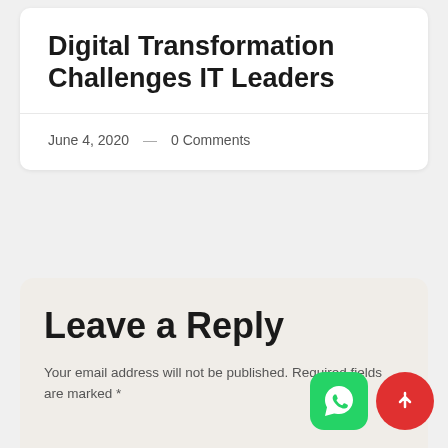Digital Transformation Challenges IT Leaders
June 4, 2020 — 0 Comments
Leave a Reply
Your email address will not be published. Required fields are marked *